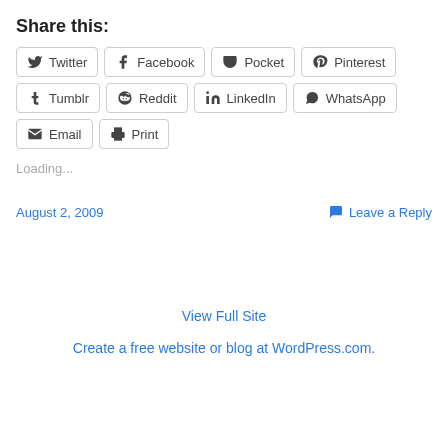Share this:
Twitter
Facebook
Pocket
Pinterest
Tumblr
Reddit
LinkedIn
WhatsApp
Email
Print
Loading...
August 2, 2009
Leave a Reply
View Full Site
Create a free website or blog at WordPress.com.